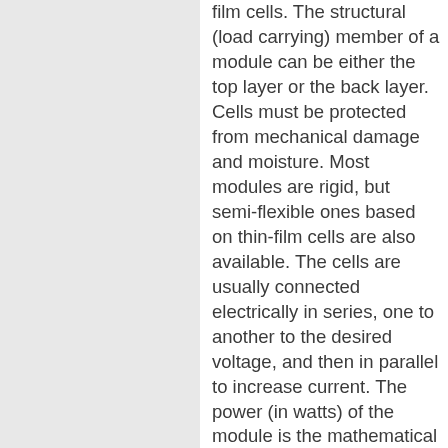film cells. The structural (load carrying) member of a module can be either the top layer or the back layer. Cells must be protected from mechanical damage and moisture. Most modules are rigid, but semi-flexible ones based on thin-film cells are also available. The cells are usually connected electrically in series, one to another to the desired voltage, and then in parallel to increase current. The power (in watts) of the module is the mathematical product of the voltage (in volts) and the current (in amperes) of the module. The manufacturing specifications on solar panels